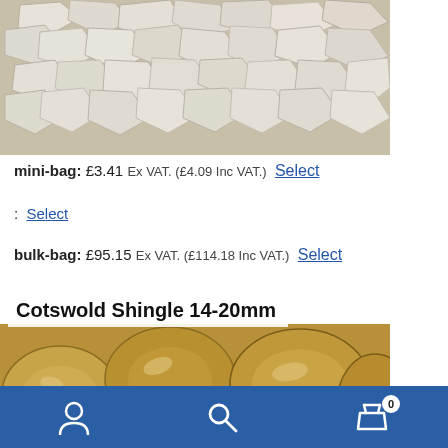[Figure (photo): Close-up photo of white/beige crushed stone gravel chips at top of page]
mini-bag: £3.41 Ex VAT. (£4.09 Inc VAT.)  Select
:  Select
bulk-bag: £95.15 Ex VAT. (£114.18 Inc VAT.)  Select
[Figure (photo): Product card showing 'Cotswold Shingle 14-20mm' with a photo of rounded golden/tan pebbles]
Navigation bar with account icon, search icon, and basket icon with badge showing 0